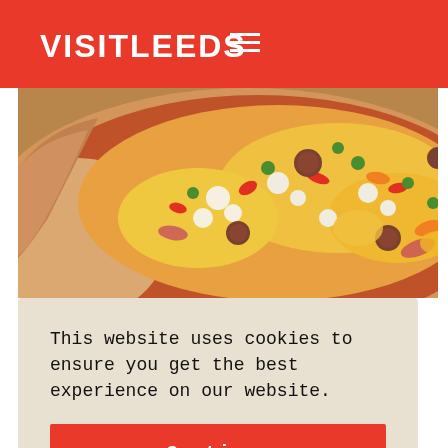VISITLEEDS
[Figure (photo): Close-up photo of a pizza with colorful toppings including peppers, cheese, meat pieces, and vegetables on a golden crust]
MOB PIZZA
This website uses cookies to ensure you get the best experience on our website.
Continue
Website. Visit Website.